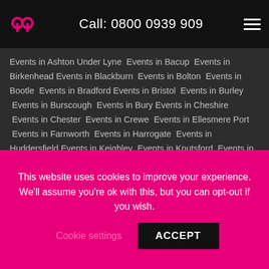Call: 0800 0939 909
Events in Ashton Under Lyne  Events in Bacup  Events in Birkenhead  Events in Blackburn  Events in Bolton  Events in Bootle  Events in Bradford  Events in Bristol  Events in Burley  Events in Burscough  Events in Bury  Events in Cheshire  Events in Chester  Events in Crewe  Events in Ellesmere Port  Events in Farnworth  Events in Harrogate  Events in Huddersfield  Events in Keighley  Events in Knutsford  Events in Lancashire  Events in Leigh  Events in Liverpool  Events in London  Events in Lymm  Events in Macclesfield  Events in Manchester  Events in Merseyside  Events in Newton-le-Willows  Events in Northwich  Events in Ormskirk  Events in Prescot  Events in Rochdale  Events in Runcorn  Events in Saint Helens  Events in Sale  Events in Skelmersdale  Events in Southport  Events in Stockport  Events in Stretford  Events in Wallasey  Events in Warrington  Events in Whitchurch  Events in Widnes  Events in Wigan  Events in
This website uses cookies to improve your experience. We'll assume you're ok with this, but you can opt-out if you wish.
Cookie settings  ACCEPT